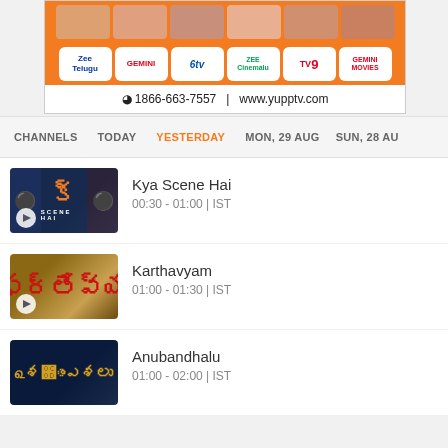[Figure (screenshot): YuppTV advertisement banner with channel logos (Zee Telugu, Gemini, ETV, Zee Cinemalu, TV9 Telugu, Gemini Movies) on orange background, contact info: 1866-663-7557 | www.yupptv.com]
CHANNELS  TODAY  YESTERDAY  MON, 29 AUG  SUN, 28 AU
[Figure (screenshot): Kya Scene Hai show thumbnail - dark blue background with orange Telugu text]
Kya Scene Hai
00:30 - 01:00 | IST
[Figure (screenshot): Karthavyam show thumbnail - parchment brown background with red Telugu text]
Karthavyam
01:00 - 01:30 | IST
[Figure (screenshot): Anubandhalu show thumbnail - dark blue background with golden Telugu text]
Anubandhalu
01:00 - 02:00 | IST